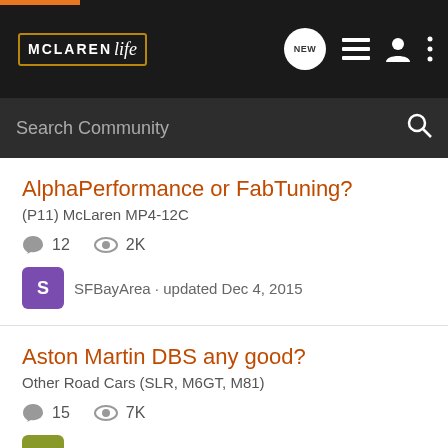McLaren Life — Search Community
AlphaPerformance or FabTuning?
(P11) McLaren MP4-12C
12 comments · 2K views
SFBayArea · updated Dec 4, 2015
Aston Martin DBS any good?
Other Road Cars (SLR, M6GT, M81)
15 comments · 7K views
Ronin1099 · updated Aug 1, 2015
McLaren 12C The Best Platform To Tune The Hell...